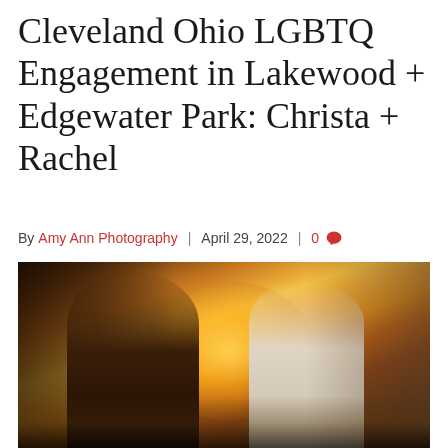Cleveland Ohio LGBTQ Engagement in Lakewood + Edgewater Park: Christa + Rachel
By Amy Ann Photography | April 29, 2022 | 0
[Figure (photo): Two women smiling and nearly kissing, warmly lit by golden sunset light near a body of water. One has long blonde hair wearing a dark top; the other has long dark hair wearing a light jacket. Warm golden bokeh background.]